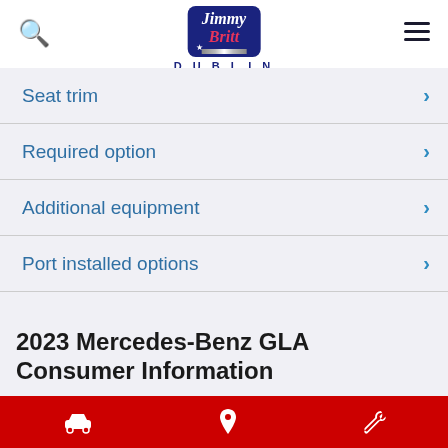Jimmy Britt DUBLIN
Seat trim
Required option
Additional equipment
Port installed options
2023 Mercedes-Benz GLA Consumer Information